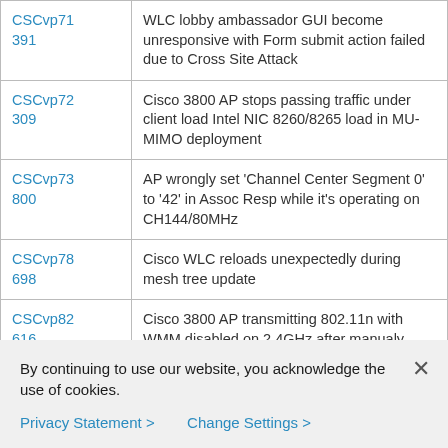| Bug ID | Description |
| --- | --- |
| CSCvp71391 | WLC lobby ambassador GUI become unresponsive with Form submit action failed due to Cross Site Attack |
| CSCvp72309 | Cisco 3800 AP stops passing traffic under client load Intel NIC 8260/8265 load in MU-MIMO deployment |
| CSCvp73800 | AP wrongly set 'Channel Center Segment 0' to '42' in Assoc Resp while it's operating on CH144/80MHz |
| CSCvp78698 | Cisco WLC reloads unexpectedly during mesh tree update |
| CSCvp82616 | Cisco 3800 AP transmitting 802.11n with WMM disabled on 2.4GHz after manualy FRA switch |
| CSCvp86151 | Cisco Wave1 APs radio reset with code 44, mostly seen on 2.4GHz radio |
By continuing to use our website, you acknowledge the use of cookies.
Privacy Statement > Change Settings >